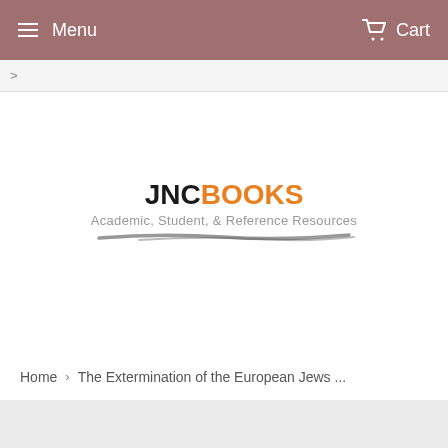Menu   Cart
>
[Figure (logo): JNCBooks logo with tagline: Academic, Student, & Reference Resources, with a brushstroke underline]
Home › The Extermination of the European Jews ...